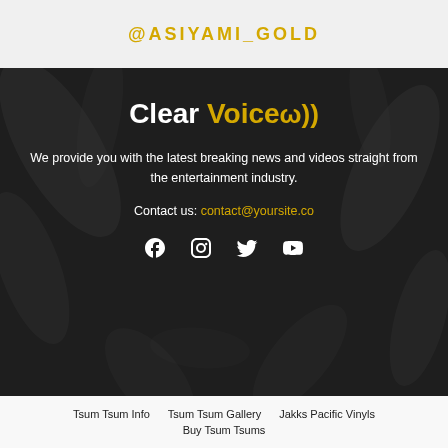@ASIYAMI_GOLD
Clear Voice
We provide you with the latest breaking news and videos straight from the entertainment industry.
Contact us: contact@yoursite.co
[Figure (infographic): Social media icons: Facebook, Instagram, Twitter, YouTube]
Tsum Tsum Info  Tsum Tsum Gallery  Jakks Pacific Vinyls  Buy Tsum Tsums